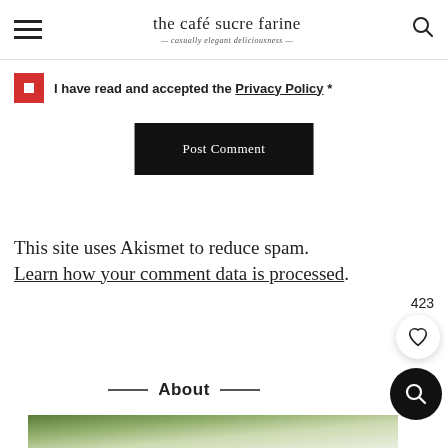the café sucre farine — casually elegant deliciousness
I have read and accepted the Privacy Policy *
Post Comment
This site uses Akismet to reduce spam. Learn how your comment data is processed.
About
[Figure (photo): Bottom partial photo showing green bokeh/foliage background]